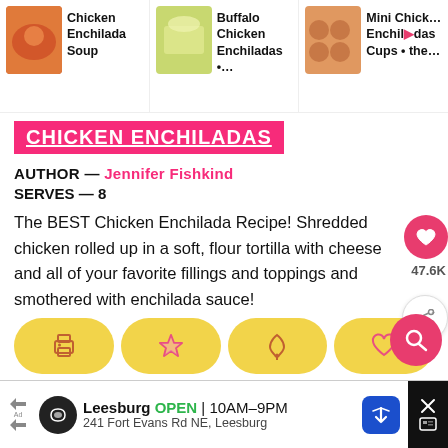Chicken Enchilada Soup | Buffalo Chicken Enchiladas •... | Mini Chick... Enchil...das Cups • the...
CHICKEN ENCHILADAS
AUTHOR — Jennifer Fishkind
SERVES — 8
The BEST Chicken Enchilada Recipe! Shredded chicken rolled up in a soft, flour tortilla with cheese and all of your favorite fillings and toppings and smothered with enchilada sauce!
47.6K
[Figure (infographic): Row of four yellow pill-shaped action buttons: print icon, star icon, pin icon, heart icon]
COOK MODE — Prevent your screen from going dark
Leesburg OPEN 10AM–9PM 241 Fort Evans Rd NE, Leesburg